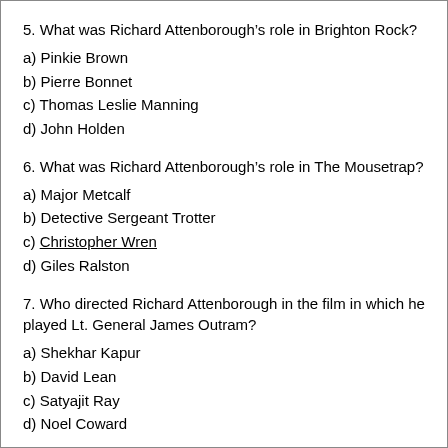5. What was Richard Attenborough’s role in Brighton Rock?
a) Pinkie Brown
b) Pierre Bonnet
c) Thomas Leslie Manning
d) John Holden
6. What was Richard Attenborough’s role in The Mousetrap?
a) Major Metcalf
b) Detective Sergeant Trotter
c) Christopher Wren
d) Giles Ralston
7. Who directed Richard Attenborough in the film in which he played Lt. General James Outram?
a) Shekhar Kapur
b) David Lean
c) Satyajit Ray
d) Noel Coward
8. For which film did Richard Attenborough win Academy